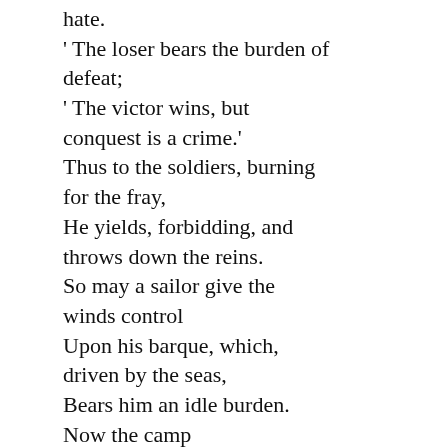hate.
' The loser bears the burden of defeat;
' The victor wins, but conquest is a crime.'
Thus to the soldiers, burning for the fray,
He yields, forbidding, and throws down the reins.
So may a sailor give the winds control
Upon his barque, which, driven by the seas,
Bears him an idle burden. Now the camp
Hums with impatience, and the brave man's heart
With beats tumultuous throbs against his breast;
And all the host had standing in their looks
The paleness of the death that was to come.¹
On that day's fight 'twas manifest that Rome